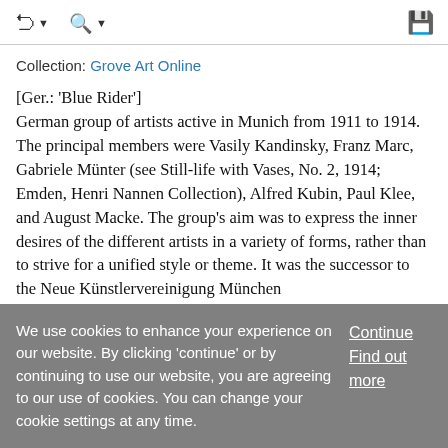Collection: Grove Art Online
[Ger.: 'Blue Rider']
German group of artists active in Munich from 1911 to 1914. The principal members were Vasily Kandinsky, Franz Marc, Gabriele Münter (see Still-life with Vases, No. 2, 1914; Emden, Henri Nannen Collection), Alfred Kubin, Paul Klee, and August Macke. The group's aim was to express the inner desires of the different artists in a variety of forms, rather than to strive for a unified style or theme. It was the successor to the Neue Künstlervereinigung München
We use cookies to enhance your experience on our website. By clicking 'continue' or by continuing to use our website, you are agreeing to our use of cookies. You can change your cookie settings at any time.